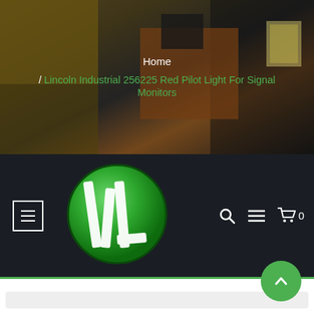[Figure (photo): Hero background image showing an industrial worker in orange safety vest near yellow machinery]
Home / Lincoln Industrial 256225 Red Pilot Light For Signal Monitors
[Figure (logo): Lincoln Industrial logo — green circle with white stylized 'IL' letters]
Navigation bar with hamburger menu, logo, search icon, menu icon, cart icon with 0 items